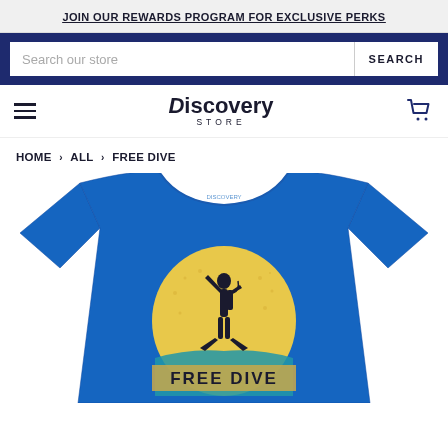JOIN OUR REWARDS PROGRAM FOR EXCLUSIVE PERKS
[Figure (screenshot): Search bar with placeholder 'Search our store' and SEARCH button on dark navy background]
[Figure (logo): Discovery Store logo with hamburger menu icon on left and shopping cart icon on right]
HOME › ALL › FREE DIVE
[Figure (photo): Blue Discovery Store t-shirt featuring a scuba diver silhouette in front of a yellow sun circle with text FREE DIVE at the bottom]